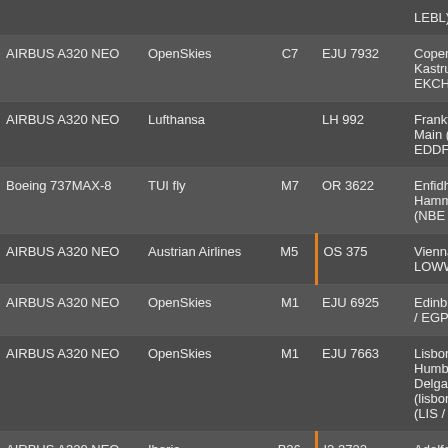| Aircraft | Airline | Gate | Flight | Destination |
| --- | --- | --- | --- | --- |
|  |  |  |  | LEBL) |
| AIRBUS A320 NEO | OpenSkies | C7 | EJU 7932 | Copenhagen Kastrup (CPH / EKCH) |
| AIRBUS A320 NEO | Lufthansa |  | LH 992 | Frankfurt Am Main (FRA / EDDF) |
| Boeing 737MAX-8 | TUI fly | M7 | OR 3622 | Enfidha - Hammamet (NBE / DTNH) |
| AIRBUS A320 NEO | Austrian Airlines | M5 | OS 375 | Vienna (VIE / LOWW) |
| AIRBUS A320 NEO | OpenSkies | M1 | EJU 6925 | Edinburgh (ED / EGPH) |
| AIRBUS A320 NEO | OpenSkies | M1 | EJU 7663 | Lisbon - Humberto Delgado (lisbon Portela (LIS / LPPT) |
| AIRBUS A320 NEO | Iberia | B26 | I2 3722 | Adolfo Suáro... |